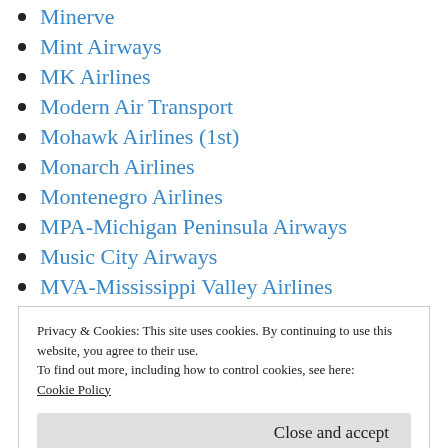Minerve
Mint Airways
MK Airlines
Modern Air Transport
Mohawk Airlines (1st)
Monarch Airlines
Montenegro Airlines
MPA-Michigan Peninsula Airways
Music City Airways
MVA-Mississippi Valley Airlines
MyTravel Airways (UK)
Privacy & Cookies: This site uses cookies. By continuing to use this website, you agree to their use.
To find out more, including how to control cookies, see here:
Cookie Policy
Close and accept